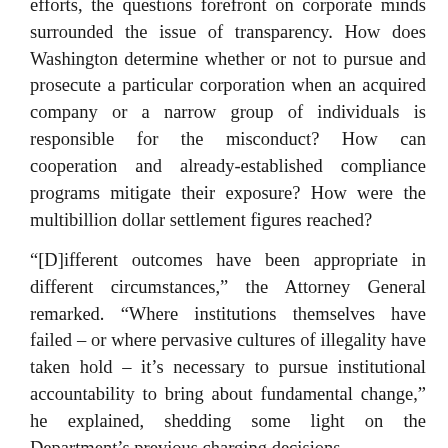efforts, the questions forefront on corporate minds surrounded the issue of transparency.  How does Washington determine whether or not to pursue and prosecute a particular corporation when an acquired company or a narrow group of individuals is responsible for the misconduct?  How can cooperation and already-established compliance programs mitigate their exposure?  How were the multibillion dollar settlement figures reached?
“[D]ifferent outcomes have been appropriate in different circumstances,” the Attorney General remarked.  “Where institutions themselves have failed – or where pervasive cultures of illegality have taken hold – it’s necessary to pursue institutional accountability to bring about fundamental change,” he explained, shedding some light on the Department’s previous charging decisions.